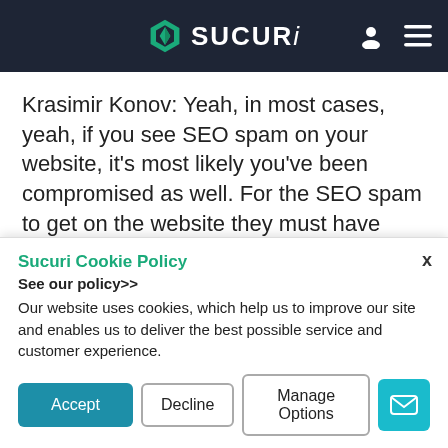SUCURi
Krasimir Konov: Yeah, in most cases, yeah, if you see SEO spam on your website, it’s most likely you’ve been compromised as well. For the SEO spam to get on the website they must have found a vulnerability somewhere. It’s very rare that we see SEO spam that gets through like from the comments. Like let’s say
Sucuri Cookie Policy
See our policy>>
Our website uses cookies, which help us to improve our site and enables us to deliver the best possible service and customer experience.